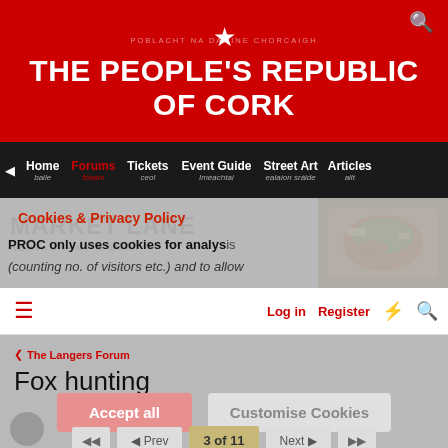THE PEOPLE'S REPUBLIC OF CORK
Home | Forums | Tickets | Event Guide | Street Art | Articles
[Figure (screenshot): Market Lane Restaurant & Bar advertisement banner with food photo]
Cookies & Privacy Policy
PROC only uses cookies for analysis (counting no. of visitors etc.) and to allow
(you to log in/create posts).
Log in  Register
The Langers Forum
Fox hunting
Accept all   Customise Cookies
◄◄  ◄ Prev  3 of 11  Next ►  ►►